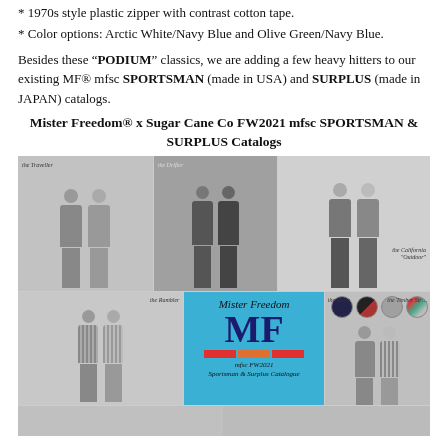* 1970s style plastic zipper with contrast cotton tape.
* Color options: Arctic White/Navy Blue and Olive Green/Navy Blue.
Besides these “PODIUM” classics, we are adding a few heavy hitters to our existing MF® mfsc SPORTSMAN (made in USA) and SURPLUS (made in JAPAN) catalogs.
Mister Freedom® x Sugar Cane Co FW2021 mfsc SPORTSMAN & SURPLUS Catalogs
[Figure (photo): Catalog spread showing fashion mannequins in various clothing items including suits, jackets, shirts and trousers, along with a Mister Freedom MF branded catalog cover with calendar, and fabric swatches in circular form.]